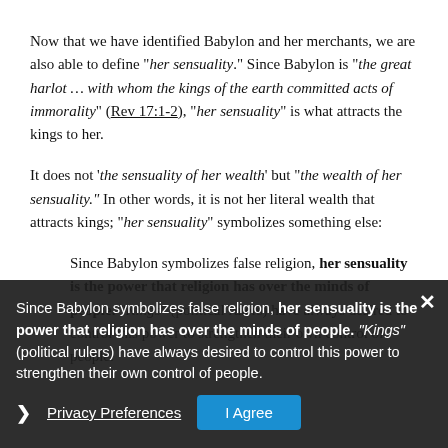Now that we have identified Babylon and her merchants, we are also able to define "her sensuality." Since Babylon is "the great harlot … with whom the kings of the earth committed acts of immorality" (Rev 17:1-2), "her sensuality" is what attracts the kings to her.
It does not 'the sensuality of her wealth' but "the wealth of her sensuality." In other words, it is not her literal wealth that attracts kings; "her sensuality" symbolizes something else:
Since Babylon symbolizes false religion, her sensuality is the power that religion has over the minds of people. "Kings" (political rulers) have always desired to control this power to strengthen their own control of people.